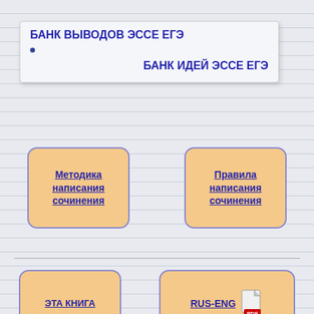БАНК ВЫВОДОВ ЭССЕ ЕГЭ
БАНК ИДЕЙ ЭССЕ ЕГЭ
[Figure (infographic): Button: Методика написания сочинения]
[Figure (infographic): Button: Правила написания сочинения]
[Figure (infographic): Button: ЭТА КНИГА]
[Figure (infographic): Button: RUS-ENG PDF icon]